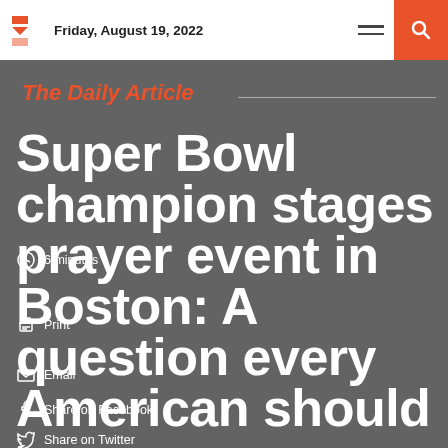Friday, August 19, 2022
The Daily Article
Super Bowl champion stages prayer event in Boston: A question every American should
6 minutes
Print
Email
Share on Facebook
Share on Twitter